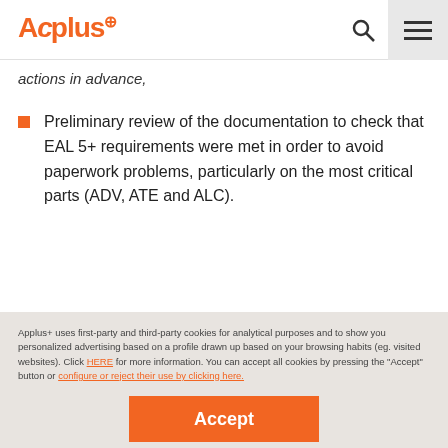Applus+
actions in advance,
Preliminary review of the documentation to check that EAL 5+ requirements were met in order to avoid paperwork problems, particularly on the most critical parts (ADV, ATE and ALC).
Applus+ uses first-party and third-party cookies for analytical purposes and to show you personalized advertising based on a profile drawn up based on your browsing habits (eg. visited websites). Click HERE for more information. You can accept all cookies by pressing the "Accept" button or configure or reject their use by clicking here.
Accept